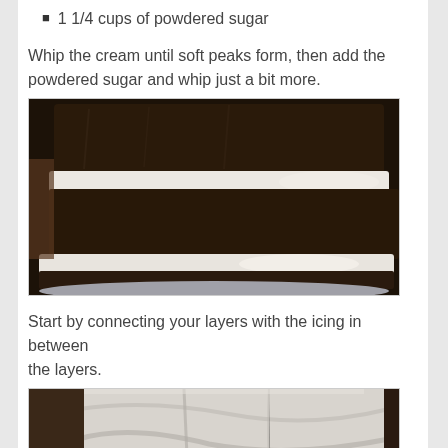1 1/4 cups of powdered sugar
Whip the cream until soft peaks form, then add the powdered sugar and whip just a bit more.
[Figure (photo): Close-up photo of a dark chocolate layered cake with white cream filling between the layers, sitting on a silver cake stand]
Start by connecting your layers with the icing in between the layers.
[Figure (photo): Close-up photo of a cake being frosted with white icing/cream on the outside]